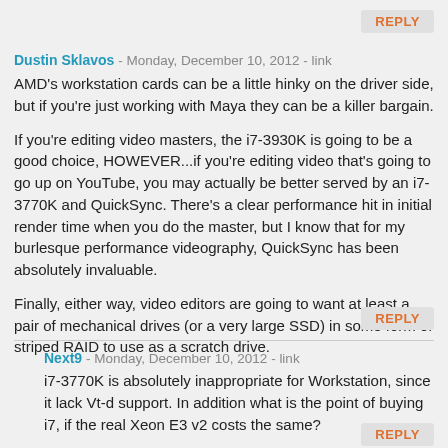REPLY
Dustin Sklavos - Monday, December 10, 2012 - link
AMD's workstation cards can be a little hinky on the driver side, but if you're just working with Maya they can be a killer bargain.
If you're editing video masters, the i7-3930K is going to be a good choice, HOWEVER...if you're editing video that's going to go up on YouTube, you may actually be better served by an i7-3770K and QuickSync. There's a clear performance hit in initial render time when you do the master, but I know that for my burlesque performance videography, QuickSync has been absolutely invaluable.
Finally, either way, video editors are going to want at least a pair of mechanical drives (or a very large SSD) in some form of striped RAID to use as a scratch drive.
REPLY
Next9 - Monday, December 10, 2012 - link
i7-3770K is absolutely inappropriate for Workstation, since it lack Vt-d support. In addition what is the point of buying i7, if the real Xeon E3 v2 costs the same?
REPLY